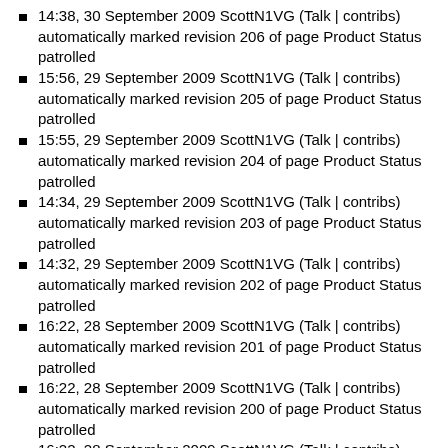14:38, 30 September 2009 ScottN1VG (Talk | contribs) automatically marked revision 206 of page Product Status patrolled
15:56, 29 September 2009 ScottN1VG (Talk | contribs) automatically marked revision 205 of page Product Status patrolled
15:55, 29 September 2009 ScottN1VG (Talk | contribs) automatically marked revision 204 of page Product Status patrolled
14:34, 29 September 2009 ScottN1VG (Talk | contribs) automatically marked revision 203 of page Product Status patrolled
14:32, 29 September 2009 ScottN1VG (Talk | contribs) automatically marked revision 202 of page Product Status patrolled
16:22, 28 September 2009 ScottN1VG (Talk | contribs) automatically marked revision 201 of page Product Status patrolled
16:22, 28 September 2009 ScottN1VG (Talk | contribs) automatically marked revision 200 of page Product Status patrolled
16:22, 28 September 2009 ScottN1VG (Talk | contribs) automatically marked revision 199 of page Product Status patrolled
16:20, 28 September 2009 ScottN1VG (Talk | contribs) automatically marked revision 198 of page Product Status patrolled